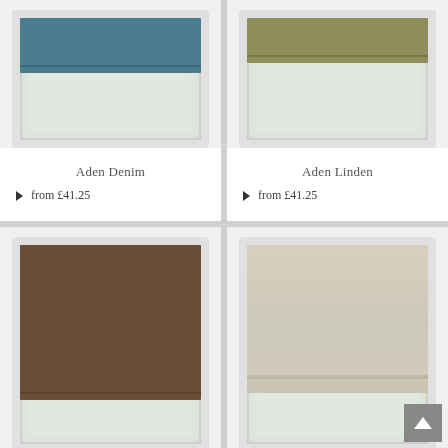[Figure (photo): Roman blind in denim/teal-blue color hanging partially in a white window frame, with light visible below.]
Aden Denim
▶ from £41.25
[Figure (photo): Roman blind in linden/olive-green color hanging partially in a white window frame, with light visible below.]
Aden Linden
▶ from £41.25
[Figure (photo): Roman blind in chocolate/brown color fully drawn down in a white window frame, with small gap of light at bottom.]
[Figure (photo): Roman blind in natural/cream color fully drawn down in a white window frame with a fold line near the bottom, small gap of light at bottom.]